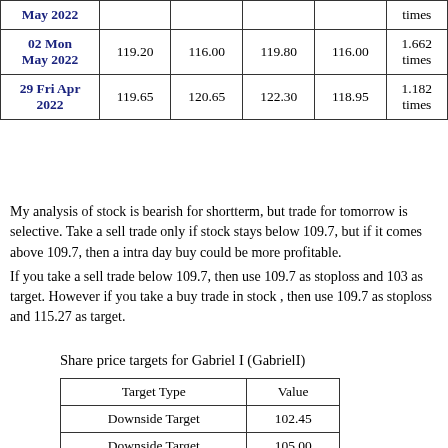| Date |  |  |  |  | times |
| --- | --- | --- | --- | --- | --- |
| 02 Mon May 2022 | 119.20 | 116.00 | 119.80 | 116.00 | 1.662 times |
| 29 Fri Apr 2022 | 119.65 | 120.65 | 122.30 | 118.95 | 1.182 times |
My analysis of stock is bearish for shortterm, but trade for tomorrow is selective. Take a sell trade only if stock stays below 109.7, but if it comes above 109.7, then a intra day buy could be more profitable.
If you take a sell trade below 109.7, then use 109.7 as stoploss and 103 as target. However if you take a buy trade in stock , then use 109.7 as stoploss and 115.27 as target.
Share price targets for Gabriel I (GabrielI)
| Target Type | Value |
| --- | --- |
| Downside Target | 102.45 |
| Downside Target | 105.00 |
| Upside Target | 116.75 |
| Upside Target | 119.80 |
| Upside Target | 122.30 |